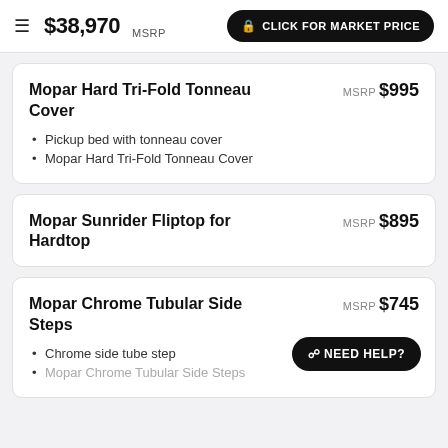$38,970 MSRP | CLICK FOR MARKET PRICE
Mopar Hard Tri-Fold Tonneau Cover
MSRP $995
Pickup bed with tonneau cover
Mopar Hard Tri-Fold Tonneau Cover
Mopar Sunrider Fliptop for Hardtop
MSRP $895
Mopar Chrome Tubular Side Steps
MSRP $745
Chrome side tube step
Mopar Chrome Tubular Side Steps